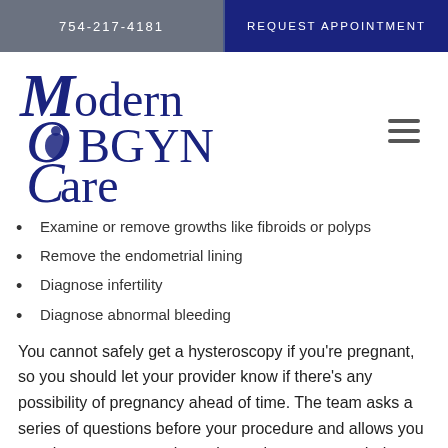754-217-4181   REQUEST APPOINTMENT
[Figure (logo): Modern OBGYN Care logo in dark blue cursive/serif font with decorative M and C letters]
Examine or remove growths like fibroids or polyps
Remove the endometrial lining
Diagnose infertility
Diagnose abnormal bleeding
You cannot safely get a hysteroscopy if you're pregnant, so you should let your provider know if there's any possibility of pregnancy ahead of time. The team asks a series of questions before your procedure and allows you to ask your own questions about what to expect during the